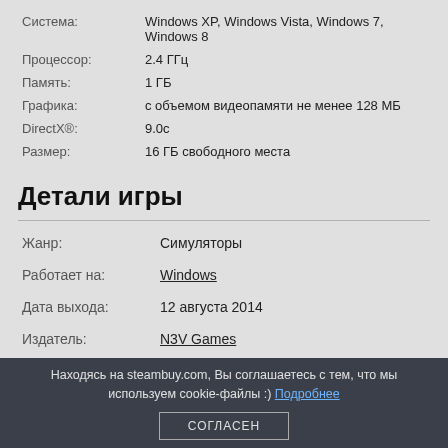| Система: | Windows XP, Windows Vista, Windows 7, Windows 8 |
| Процессор: | 2.4 ГГц |
| Память: | 1 ГБ |
| Графика: | с объемом видеопамяти не менее 128 МБ |
| DirectX®: | 9.0c |
| Размер: | 16 ГБ свободного места |
Детали игры
| Жанр: | Симуляторы |
| Работает на: | Windows |
| Дата выхода: | 12 августа 2014 |
| Издатель: | N3V Games |
Находясь на steambuy.com, Вы соглашаетесь с тем, что мы используем cookie-файлы :) Подробнее
СОГЛАСЕН